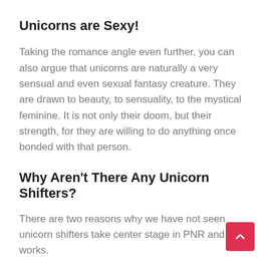Unicorns are Sexy!
Taking the romance angle even further, you can also argue that unicorns are naturally a very sensual and even sexual fantasy creature. They are drawn to beauty, to sensuality, to the mystical feminine. It is not only their doom, but their strength, for they are willing to do anything once bonded with that person.
Why Aren’t There Any Unicorn Shifters?
There are two reasons why we have not seen unicorn shifters take center stage in PNR and works.